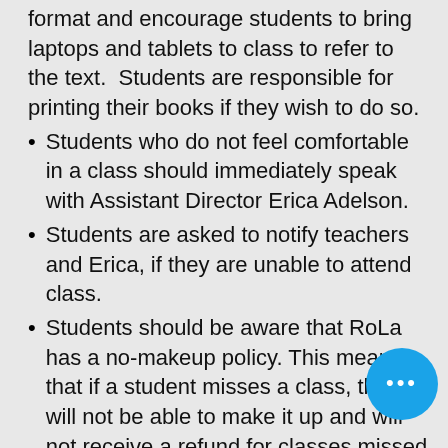format and encourage students to bring laptops and tablets to class to refer to the text.  Students are responsible for printing their books if they wish to do so.
Students who do not feel comfortable in a class should immediately speak with Assistant Director Erica Adelson.
Students are asked to notify teachers and Erica, if they are unable to attend class.
Students should be aware that RoLa has a no-makeup policy. This means that if a student misses a class, they will not be able to make it up and will not receive a refund for classes missed without prior arrangement. Students will continue to receive homework